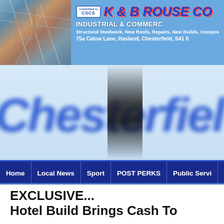[Figure (screenshot): K & B Rouse Co banner advertisement showing a construction steel structure photo on the left, CSCS badge, company name 'K & B ROUSE CO' in blue italic with red shadow, subtitle 'INDUSTRIAL & COMMERCIAL', services listed, and address '75a Calow Lane, Hasland, Chesterfield, S41 0...']
[Figure (logo): Chesterfield Post newspaper logo in large blurred blue italic text on a light blue background, partially obscured by a dark vertical shape]
Home | Local News | Sport | POST PERKS | Public Servi...
EXCLUSIVE...
Hotel Build Brings Cash To